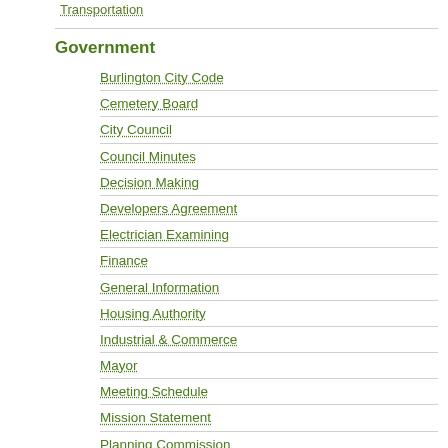Transportation
Government
Burlington City Code
Cemetery Board
City Council
Council Minutes
Decision Making
Developers Agreement
Electrician Examining
Finance
General Information
Housing Authority
Industrial & Commerce
Mayor
Meeting Schedule
Mission Statement
Planning Commission
Plumbing Examining
Public Office
Standing Committees
Subdivision Regulations